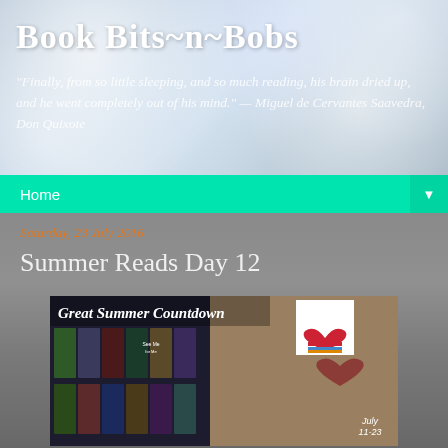Book Bits~n~Bobs
"Finally, from so little sleeping, and so much reading, his brain dried up, and he went completely out of his mind." — Miguel de Cervantes Saavedra, Don Quixote
Home
Saturday, 23 July 2016
Summer Reads Day 12
[Figure (photo): Great Summer Countdown banner with book covers and a heart on sandy background, dated July 11-23]